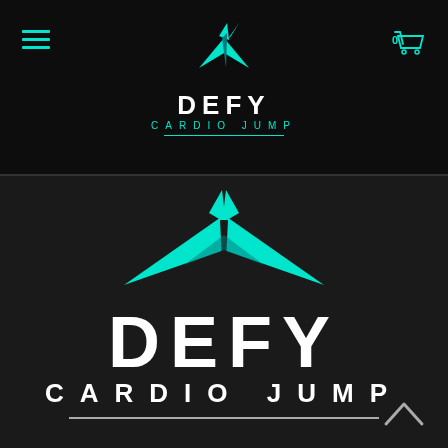[Figure (logo): DEFY CARDIO JUMP logo in navigation bar: teal geometric origami bird/arrow icon above bold white DEFY text with teal CARDIO JUMP subtitle and teal underline]
[Figure (logo): Large DEFY CARDIO JUMP logo centered on dark background: large teal geometric origami/arrow icon, bold white DEFY text, white CARDIO JUMP subtitle, grey underline]